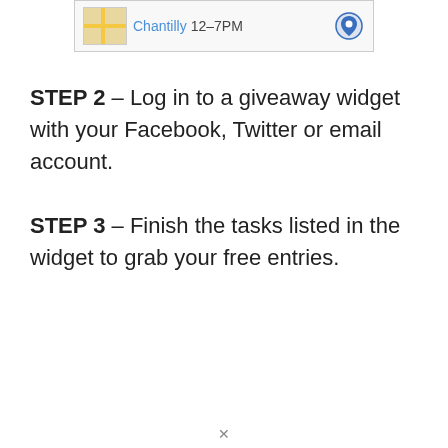[Figure (screenshot): A partial map thumbnail showing Chantilly location with a blue location pin icon and time range 12-7PM]
STEP 2 – Log in to a giveaway widget with your Facebook, Twitter or email account.
STEP 3 – Finish the tasks listed in the widget to grab your free entries.